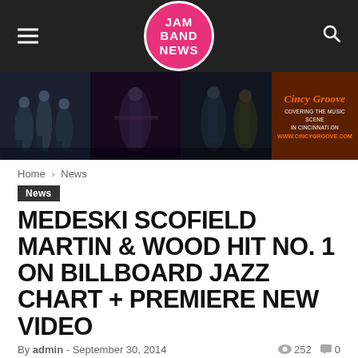JAM BAND NEWS
[Figure (photo): Banner showing concert photos of musicians performing on stage, with Cincy Groove advertisement on the right]
Home › News
News
MEDESKI SCOFIELD MARTIN & WOOD HIT NO. 1 ON BILLBOARD JAZZ CHART + PREMIERE NEW VIDEO
By admin - September 30, 2014  👁 252  💬 0
[Figure (other): Social share buttons: Facebook, Twitter, Pinterest, WhatsApp]